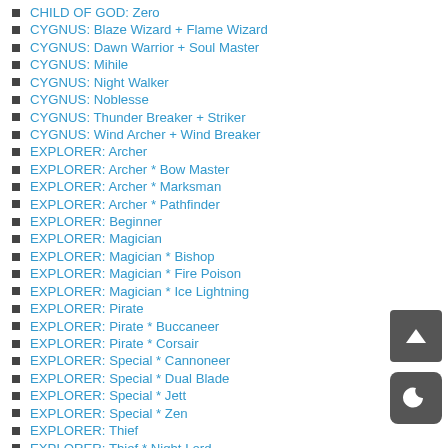CHILD OF GOD: Zero
CYGNUS: Blaze Wizard + Flame Wizard
CYGNUS: Dawn Warrior + Soul Master
CYGNUS: Mihile
CYGNUS: Night Walker
CYGNUS: Noblesse
CYGNUS: Thunder Breaker + Striker
CYGNUS: Wind Archer + Wind Breaker
EXPLORER: Archer
EXPLORER: Archer * Bow Master
EXPLORER: Archer * Marksman
EXPLORER: Archer * Pathfinder
EXPLORER: Beginner
EXPLORER: Magician
EXPLORER: Magician * Bishop
EXPLORER: Magician * Fire Poison
EXPLORER: Magician * Ice Lightning
EXPLORER: Pirate
EXPLORER: Pirate * Buccaneer
EXPLORER: Pirate * Corsair
EXPLORER: Special * Cannoneer
EXPLORER: Special * Dual Blade
EXPLORER: Special * Jett
EXPLORER: Special * Zen
EXPLORER: Thief
EXPLORER: Thief * Night Lord